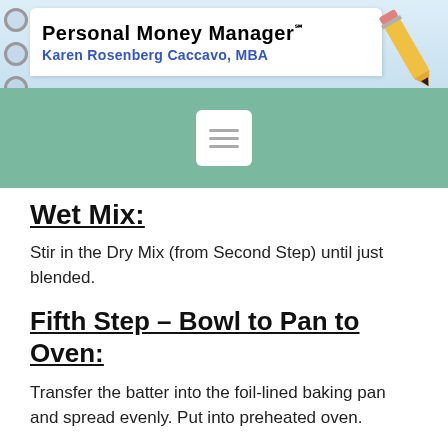Personal Money Manager℠
Karen Rosenberg Caccavo, MBA
[Figure (illustration): Navigation hamburger menu icon (three horizontal lines) on white rounded square, centered in teal/green navigation bar]
Wet Mix:
Stir in the Dry Mix (from Second Step) until just blended.
Fifth Step – Bowl to Pan to Oven:
Transfer the batter into the foil-lined baking pan and spread evenly. Put into preheated oven.